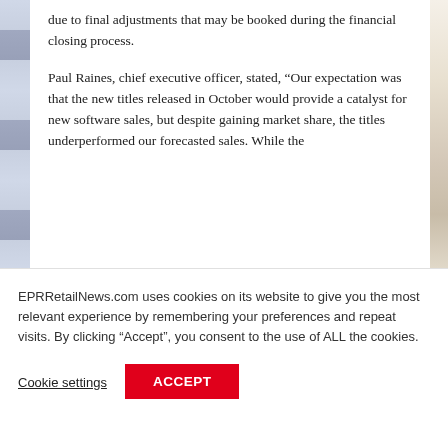due to final adjustments that may be booked during the financial closing process.
Paul Raines, chief executive officer, stated, “Our expectation was that the new titles released in October would provide a catalyst for new software sales, but despite gaining market share, the titles underperformed our forecasted sales. While the
EPRRetailNews.com uses cookies on its website to give you the most relevant experience by remembering your preferences and repeat visits. By clicking “Accept”, you consent to the use of ALL the cookies.
Cookie settings
ACCEPT